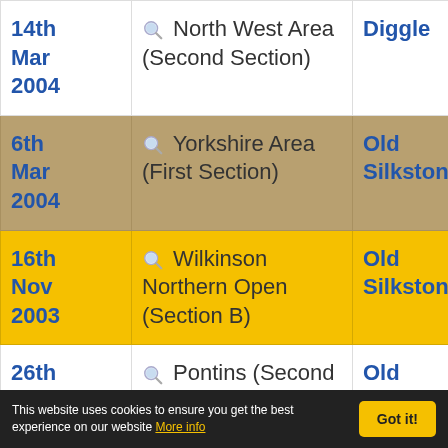| Date | Contest | Venue | Pos |
| --- | --- | --- | --- |
| 14th Mar 2004 | 🔍 North West Area (Second Section) | Diggle | 5 |
| 6th Mar 2004 | 🔍 Yorkshire Area (First Section) | Old Silkstone | 3 |
| 16th Nov 2003 | 🔍 Wilkinson Northern Open (Section B) | Old Silkstone | 1 |
| 26th Oct 2003 | 🔍 Pontins (Second Section) | Old Silkstone | 10 |
This website uses cookies to ensure you get the best experience on our website More info